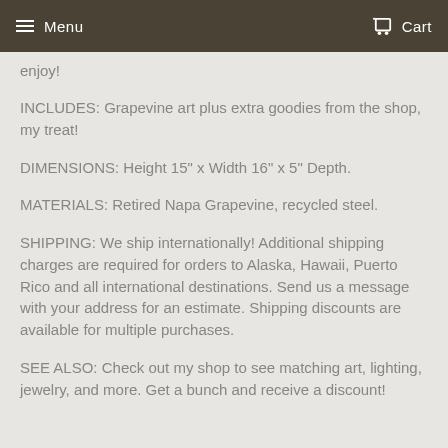Menu   Cart
enjoy!
INCLUDES: Grapevine art plus extra goodies from the shop, my treat!
DIMENSIONS: Height 15" x Width 16" x 5" Depth.
MATERIALS: Retired Napa Grapevine, recycled steel.
SHIPPING: We ship internationally! Additional shipping charges are required for orders to Alaska, Hawaii, Puerto Rico and all international destinations. Send us a message with your address for an estimate. Shipping discounts are available for multiple purchases.
SEE ALSO: Check out my shop to see matching art, lighting, jewelry, and more. Get a bunch and receive a discount!